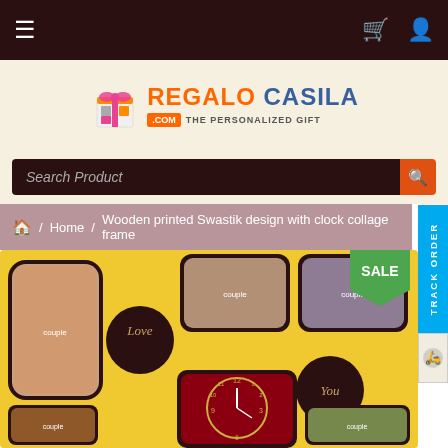Navigation bar with hamburger menu, cart icon, and user icon
[Figure (logo): Regalo Casila .com The Personalized Gift logo with gift box icon]
Search Product
Home / Wooden printed Swastik design with clock collage frame
TRACK ORDER
[Figure (photo): Wooden printed Swastik design with clock collage frame product image on yellow background, showing photo frames with couples and a clock, with Love and You text circles. SALE badge visible.]